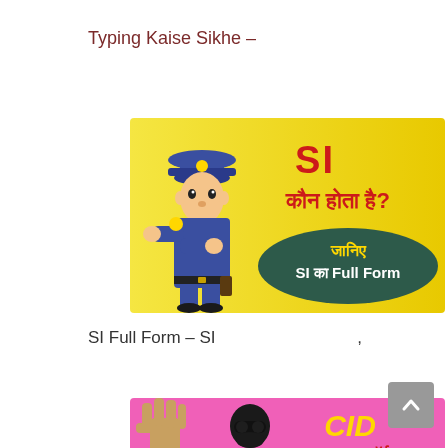Typing Kaise Sikhe –
[Figure (illustration): Banner image with cartoon police officer on yellow background. Text reads 'SI कौन होता है?' in red bold font, and a dark green oval shape with yellow and white text 'जानिए SI का Full Form']
SI Full Form – SI ,
[Figure (illustration): Partially visible banner image with cartoon man in sunglasses on pink background. Text reads 'CID का Full फॉर्म' in bold font.]